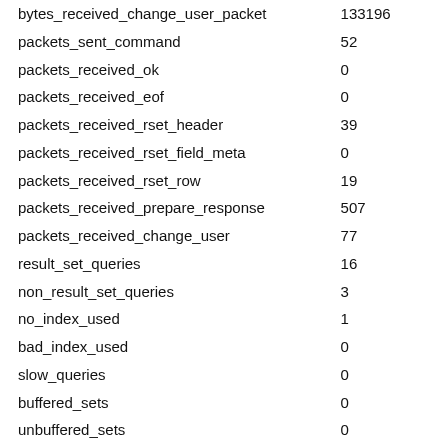| Name | Value |
| --- | --- |
| bytes_received_change_user_packet | 133196 |
| packets_sent_command | 52 |
| packets_received_ok | 0 |
| packets_received_eof | 0 |
| packets_received_rset_header | 39 |
| packets_received_rset_field_meta | 0 |
| packets_received_rset_row | 19 |
| packets_received_prepare_response | 507 |
| packets_received_change_user | 77 |
| result_set_queries | 16 |
| non_result_set_queries | 3 |
| no_index_used | 1 |
| bad_index_used | 0 |
| slow_queries | 0 |
| buffered_sets | 0 |
| unbuffered_sets | 0 |
| ps_buffered_sets | 16 |
| ps_unbuffered_sets | 0 |
| flushed_normal_sets | 0 |
| flushed_ps_sets | 0 |
| ps_prepared_never_executed | 0 |